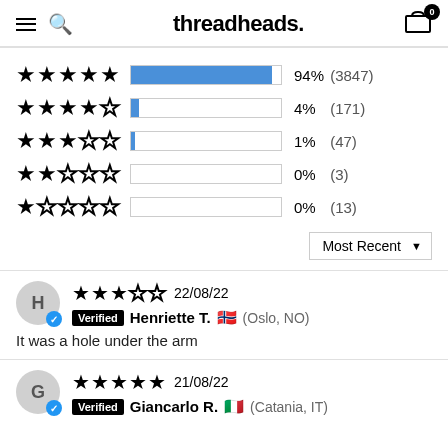threadheads.
[Figure (bar-chart): Rating distribution]
Most Recent
H — Henriette T. (Oslo, NO) — 3 stars — 22/08/22 — Verified
It was a hole under the arm
G — Giancarlo R. (Catania, IT) — 5 stars — 21/08/22 — Verified